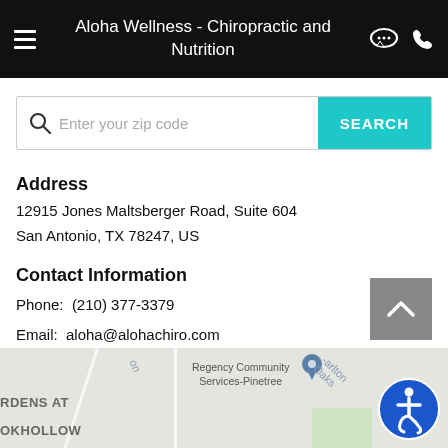Aloha Wellness - Chiropractic and Nutrition
Enter your zip code
Address
12915 Jones Maltsberger Road, Suite 604
San Antonio, TX 78247, US
Contact Information
Phone:  (210) 377-3379
Email:  aloha@alohachiro.com
[Figure (map): Partial Google Maps view showing Regency Community Services-Pinetree and surrounding area near San Antonio TX]